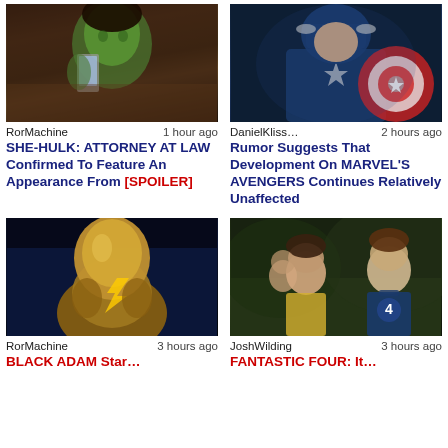[Figure (photo): She-Hulk actress looking at phone with green skin]
RorMachine   1 hour ago
SHE-HULK: ATTORNEY AT LAW Confirmed To Feature An Appearance From [SPOILER]
[Figure (photo): Captain America in blue suit holding shield]
DanielKliss…   2 hours ago
Rumor Suggests That Development On MARVEL'S AVENGERS Continues Relatively Unaffected
[Figure (photo): Black Adam in golden suit on blue background]
RorMachine   3 hours ago
BLACK ADAM Star…
[Figure (photo): Two actors side by side, one in Fantastic Four suit]
JoshWilding   3 hours ago
FANTASTIC FOUR: It…